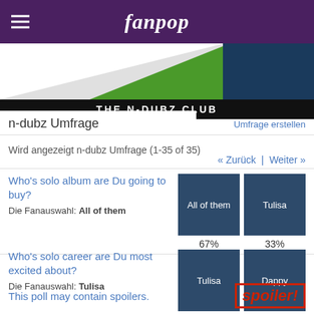fanpop
[Figure (illustration): Fanpop club banner with white, green, and dark teal geometric shapes]
THE N-DUBZ CLUB
n-dubz Umfrage
Umfrage erstellen
Wird angezeigt n-dubz Umfrage (1-35 of 35)
« Zurück | Weiter »
Who's solo album are Du going to buy?
Die Fanauswahl: All of them
All of them 67%  Tulisa 33%
Who's solo career are Du most excited about?
Die Fanauswahl: Tulisa
Tulisa 100%  Dappy 0%
This poll may contain spoilers.